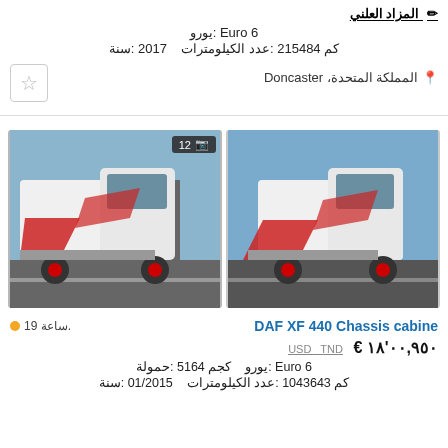✏ المزاد العلني
يورو: Euro 6
سنة: 2017  عدد الكيلومترات: 215484 كم
📍 المملكة المتحدة، Doncaster
[Figure (photo): Two photos of a white DAF XF 440 Chassis cabine truck with red markings, parked on a road. Right photo shows badge with camera icon and '12'.]
DAF XF 440 Chassis cabine   19 ساعة.
€ ١٨'٩٥٠,٠٠  USD  TND
حمولة: 5164 كجم  يورو: Euro 6
سنة: 01/2015  عدد الكيلومترات: 1043643 كم